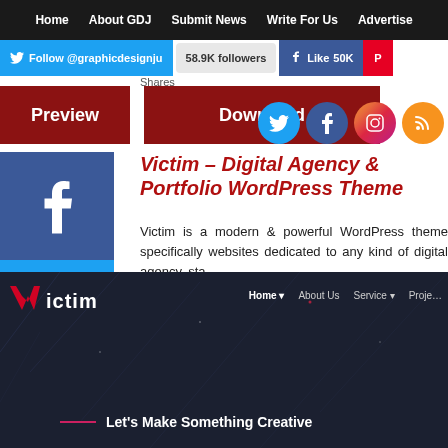Home  About GDJ  Submit News  Write For Us  Advertise
[Figure (screenshot): Social follow bar with Twitter Follow @graphicdesignju button, 58.9K followers badge, Like 50K Facebook button, and Pinterest button]
[Figure (screenshot): Preview and Download red buttons with Shares label]
[Figure (screenshot): Social media circular icons: Twitter, Facebook, Instagram, RSS]
[Figure (screenshot): Left sidebar with Facebook, Twitter, LinkedIn, Pinterest, and More social share buttons]
Victim – Digital Agency & Portfolio WordPress Theme
Victim is a modern & powerful WordPress theme specifically websites dedicated to any kind of digital agency, sta...
[Figure (screenshot): Dark themed website preview showing Victim logo with navigation: Home, About Us, Service, Proje... and tagline Let's Make Something Creative]